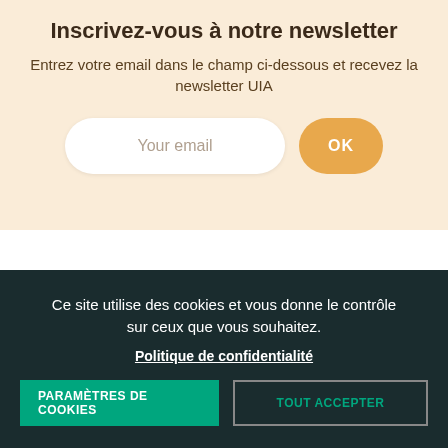Inscrivez-vous à notre newsletter
Entrez votre email dans le champ ci-dessous et recevez la newsletter UIA
[Figure (infographic): Email input field with placeholder 'Your email' and an orange OK button]
Ce site utilise des cookies et vous donne le contrôle sur ceux que vous souhaitez.
Politique de confidentialité
PARAMÈTRES DE COOKIES
TOUT ACCEPTER